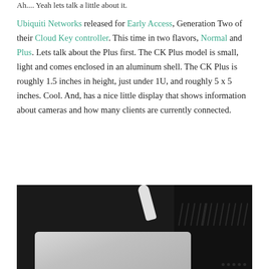Ah.... Yeah lets talk a little about it.
Ubiquiti Networks released for Early Access, Generation Two of their Cloud Key controller. This time in two flavors, Normal and Plus. Lets talk about the Plus first. The CK Plus model is small, light and comes enclosed in an aluminum shell. The CK Plus is roughly 1.5 inches in height, just under 1U, and roughly 5 x 5 inches. Cool. And, has a nice little display that shows information about cameras and how many clients are currently connected.
[Figure (photo): Photo of a Ubiquiti Cloud Key Plus device — a small silver/aluminum rectangular box connected to a white cable, placed in front of a dark vented panel/rack unit background.]